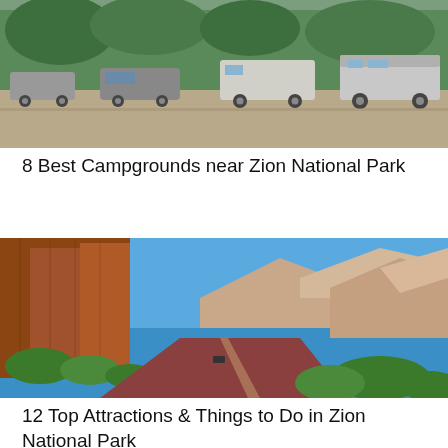[Figure (photo): RVs and vehicles parked at a campground with trees overhead, showing a row of motorhomes and SUVs in a parking/camping area.]
8 Best Campgrounds near Zion National Park
[Figure (photo): Scenic road winding through Zion National Park with towering red sandstone cliffs on the left, green vegetation, and mountains in the background under a vivid blue sky.]
12 Top Attractions & Things to Do in Zion National Park